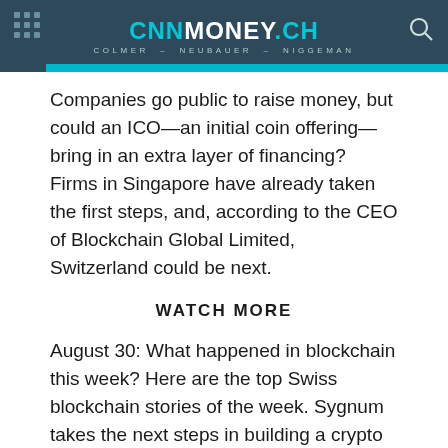CNNMONEY.CH COLMER - NEUBAUER - NIGGEMAN
Companies go public to raise money, but could an ICO—an initial coin offering—bring in an extra layer of financing? Firms in Singapore have already taken the first steps, and, according to the CEO of Blockchain Global Limited, Switzerland could be next.
WATCH MORE
August 30: What happened in blockchain this week? Here are the top Swiss blockchain stories of the week. Sygnum takes the next steps in building a crypto bank; SIX CEO signals progress for a digital exchange; and an SNB survey shows that blockchain is used by less than 5 percent of Swiss banks.